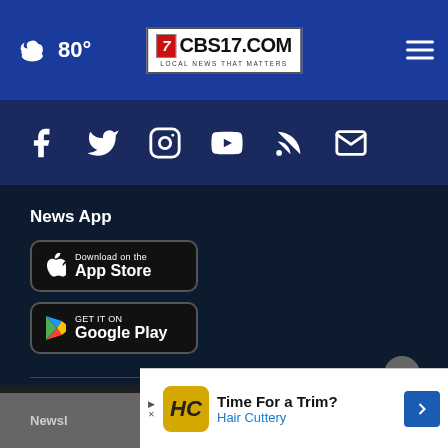CBS17.COM - LOCAL NEWS THAT MATTERS - 80°
[Figure (logo): Social media icons: Facebook, Twitter, Instagram, YouTube, RSS, Email]
News App
[Figure (other): Download on the App Store button]
[Figure (other): GET IT ON Google Play button]
News
Weather
Sports
Video
Newsl
[Figure (other): Hair Cuttery advertisement: Time For a Trim? Hair Cuttery]